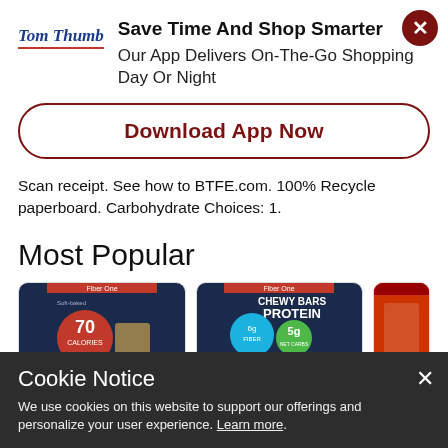Save Time And Shop Smarter
Our App Delivers On-The-Go Shopping Day Or Night
Download App Now
Scan receipt. See how to BTFE.com. 100% Recycle paperboard. Carbohydrate Choices: 1.
Most Popular
[Figure (photo): Fiber One 70 Calories soft-baked bar product box on dark blue background]
[Figure (photo): Fiber One Protein Chewy Bars product box on dark blue background showing 5g protein]
[Figure (photo): Partial view of a red product box]
Cookie Notice
We use cookies on this website to support our offerings and personalize your user experience. Learn more.